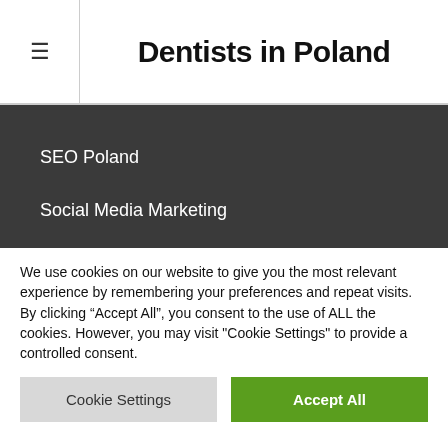Dentists in Poland
SEO Poland
Social Media Marketing
LEGAL
We use cookies on our website to give you the most relevant experience by remembering your preferences and repeat visits. By clicking “Accept All”, you consent to the use of ALL the cookies. However, you may visit "Cookie Settings" to provide a controlled consent.